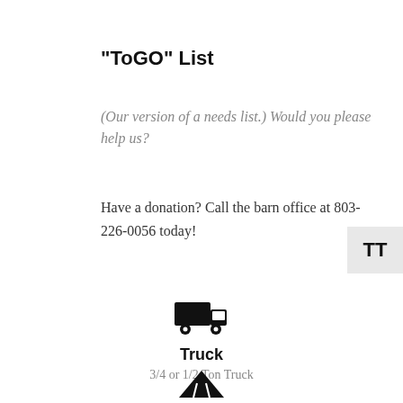"ToGO" List
(Our version of a needs list.) Would you please help us?
Have a donation? Call the barn office at 803-226-0056 today!
[Figure (illustration): Black truck/delivery vehicle icon]
Truck
3/4 or 1/2 Ton Truck
[Figure (illustration): Black road/trailer icon]
Trailer